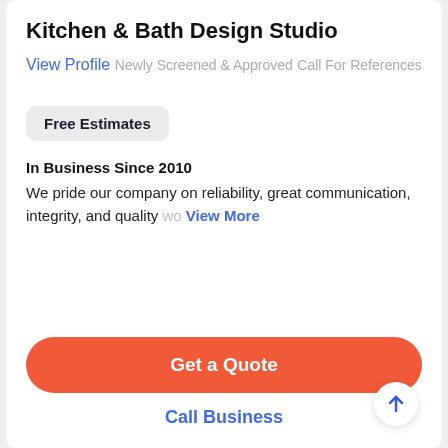Kitchen & Bath Design Studio
View Profile
Newly Screened & Approved
Call For References
Free Estimates
In Business Since 2010
We pride our company on reliability, great communication, integrity, and quality wo… View More
Get a Quote
Call Business